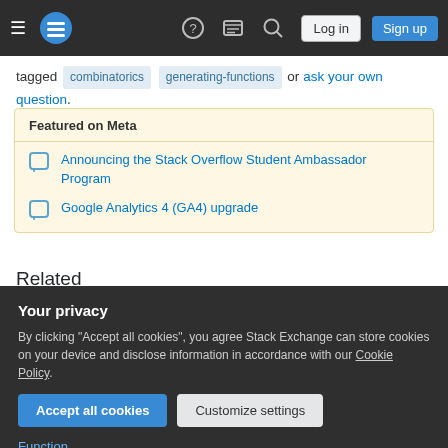Navigation bar with hamburger menu, Stack Exchange logo, help icon, chat icon, search icon, Log in button, Sign up button
tagged combinatorics generating-functions or ask your own question.
Featured on Meta
Announcing the Stack Overflow Student Ambassador Program
Google Analytics 4 (GA4) upgrade
Related
Your privacy
By clicking "Accept all cookies", you agree Stack Exchange can store cookies on your device and disclose information in accordance with our Cookie Policy.
Accept all cookies   Customize settings
Function